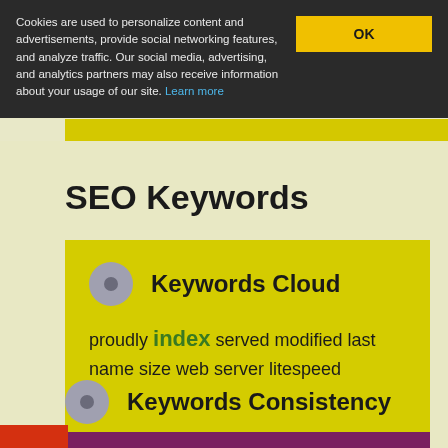Cookies are used to personalize content and advertisements, provide social networking features, and analyze traffic. Our social media, advertising, and analytics partners may also receive information about your usage of our site. Learn more
OK
SEO Keywords
Keywords Cloud
proudly index served modified last name size web server litespeed
Keywords Consistency